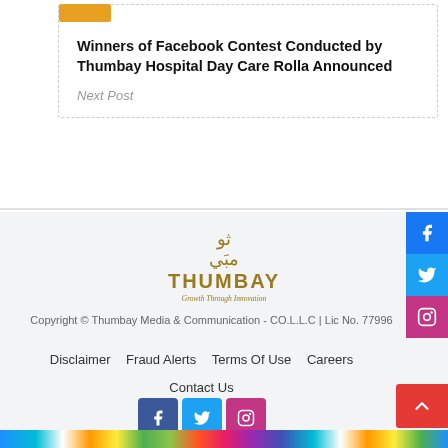Winners of Facebook Contest Conducted by Thumbay Hospital Day Care Rolla Announced
Next Post
[Figure (logo): Thumbay logo with Arabic text, English THUMBAY wordmark and tagline 'Growth Through Innovation']
Copyright © Thumbay Media & Communication - CO.L.L.C | Lic No. 77996
Disclaimer   Fraud Alerts   Terms Of Use   Careers   Contact Us